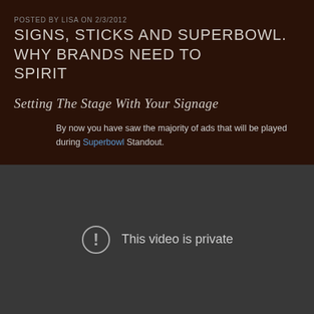POSTED BY LISA ON 2/3/2012
SIGNS, STICKS AND SUPERBOWL. WHY BRANDS NEED TO SPIRIT
Setting The Stage With Your Signage
By now you have saw the majority of ads that will be played during Superbowl Standout.
[Figure (screenshot): Embedded video player showing 'This video is private' error message with exclamation mark icon in a circle, dark grey background.]